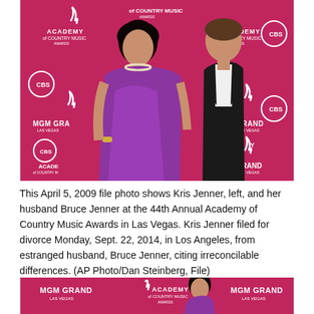[Figure (photo): Kris Jenner in purple strapless gown and Bruce Jenner in black suit pose together on the red carpet at the 44th Annual Academy of Country Music Awards at MGM Grand in Las Vegas, April 5, 2009. Background shows repeated MGM Grand and Academy of Country Music logos on a hot pink/red carpet backdrop.]
This April 5, 2009 file photo shows Kris Jenner, left, and her husband Bruce Jenner at the 44th Annual Academy of Country Music Awards in Las Vegas. Kris Jenner filed for divorce Monday, Sept. 22, 2014, in Los Angeles, from estranged husband, Bruce Jenner, citing irreconcilable differences. (AP Photo/Dan Steinberg, File)
[Figure (photo): Partial view of another photo on the same red carpet backdrop showing MGM Grand and Academy of Country Music logos, with a person partially visible.]